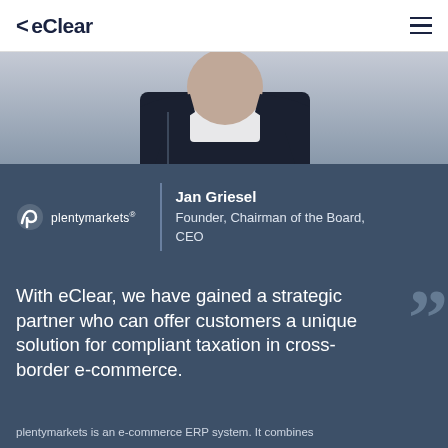eClear
[Figure (photo): Portrait photo of Jan Griesel in dark suit, partially visible at top of page]
[Figure (logo): plentymarkets logo - circular icon with 'p' symbol and text 'plentymarkets']
Jan Griesel
Founder, Chairman of the Board, CEO
With eClear, we have gained a strategic partner who can offer customers a unique solution for compliant taxation in cross-border e-commerce.
plentymarkets is an e-commerce ERP system. It combines